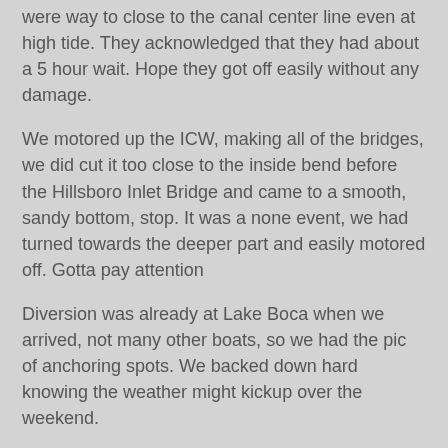were way to close to the canal center line even at high tide. They acknowledged that they had about a 5 hour wait. Hope they got off easily without any damage.
We motored up the ICW, making all of the bridges, we did cut it too close to the inside bend before the Hillsboro Inlet Bridge and came to a smooth, sandy bottom, stop. It was a none event, we had turned towards the deeper part and easily motored off. Gotta pay attention
Diversion was already at Lake Boca when we arrived, not many other boats, so we had the pic of anchoring spots. We backed down hard knowing the weather might kickup over the weekend.
As the afternoon wore on, more of the club boats arrived and we prepared for the Champagne Party that evening aboard Into the Blue and Chesshire.
We took a dish of appetizers made at the last minute from what we had onboard. Cocktail sticks, Cheese, Grapes, Slice of Ham on, a piece of Cucumber. Worked out great, they